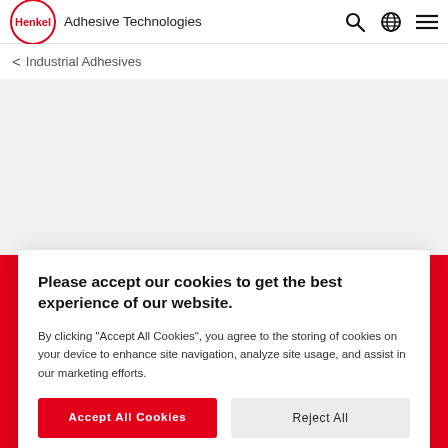Henkel Adhesive Technologies
< Industrial Adhesives
Please accept our cookies to get the best experience of our website.
By clicking "Accept All Cookies", you agree to the storing of cookies on your device to enhance site navigation, analyze site usage, and assist in our marketing efforts.
Accept All Cookies
Reject All
Cookies Settings
production lines or repair shops. Suitable for any industry, they perform equally well when applied manually as they do within